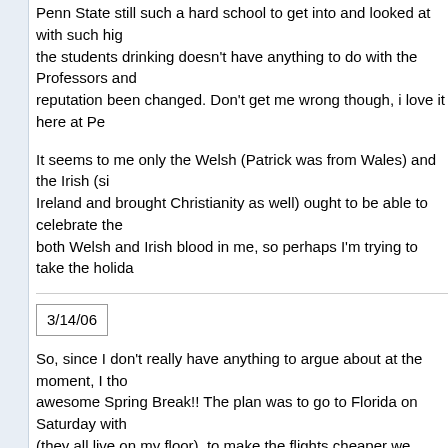Penn State still such a hard school to get into and looked at with such high regard, the students drinking doesn't have anything to do with the Professors and reputation been changed. Don't get me wrong though, i love it here at Pe...
It seems to me only the Welsh (Patrick was from Wales) and the Irish (si... Ireland and brought Christianity as well) ought to be able to celebrate the... both Welsh and Irish blood in me, so perhaps I'm trying to take the holida...
3/14/06
So, since I don't really have anything to argue about at the moment, I tho... awesome Spring Break!! The plan was to go to Florida on Saturday with... (they all live on my floor), to make the flights cheaper we decided to fly o... that way I could go home for the night and see some family and friends. A... Florida, so while down there we stayed with one of the girl's fathers that l... 20 minutes from the beach and about an hour and a half from Orlando. W... days, I did not get burnt AT all until the last day we went to the beach, wh... because I did not put any suntan lotion on.. hmm.. wierd! And one of the... degree burns from her sunburn.. intense! Then on Wednesday the girl's d... we could go to Orlando's Downtown Disney/ Pleasure Island and not hav... went there and it was interesting, to say the least, the age range in these... was kinda funny seeing older men there hitting on us 18 year olds. Ok, n... But yes, it was an experience to say the least haha. Then the next day...